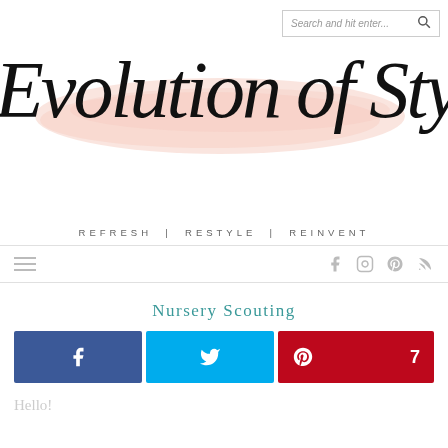[Figure (screenshot): Search bar with placeholder text 'Search and hit enter...' and magnifying glass icon]
Evolution of Style
REFRESH | RESTYLE | REINVENT
[Figure (infographic): Navigation bar with hamburger menu icon on left and social media icons (Facebook, Instagram, Pinterest, RSS) on right]
Nursery Scouting
[Figure (infographic): Share buttons: Facebook (blue), Twitter (cyan), Pinterest (red) with count 7]
Hello!